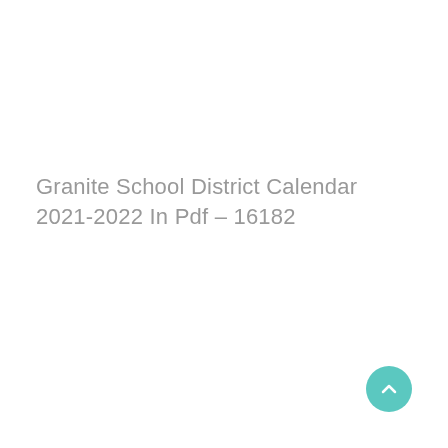Granite School District Calendar 2021-2022 In Pdf – 16182